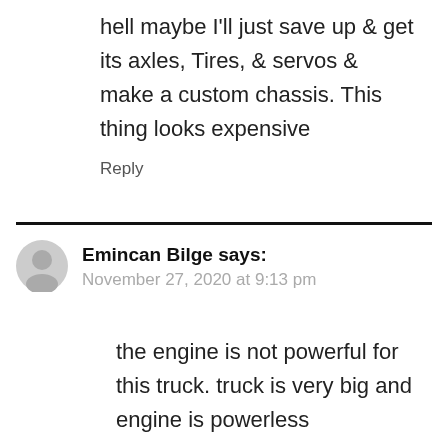hell maybe I'll just save up & get its axles, Tires, & servos & make a custom chassis. This thing looks expensive
Reply
Emincan Bilge says:
November 27, 2020 at 9:13 pm
the engine is not powerful for this truck. truck is very big and engine is powerless